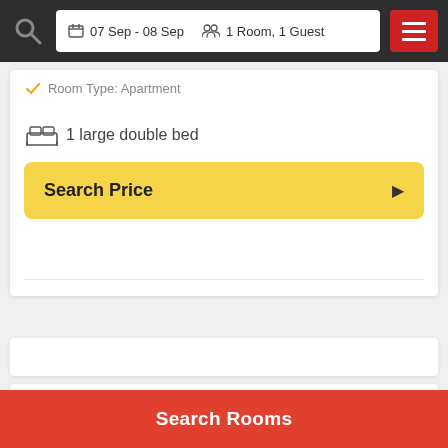07 Sep - 08 Sep  1 Room, 1 Guest
✓ Room Type: Apartment
1 large double bed
Search Price
Reviews
Wonderful Family Accommodation
Best Rating in city
Search Rooms